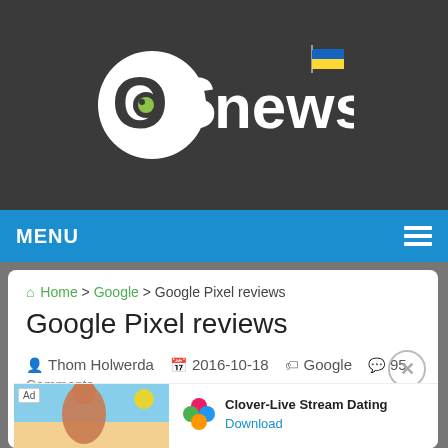[Figure (logo): OSnews logo with white 'OS' letters in a circular badge and 'news' text, with a Ukrainian flag icon in the top right corner, on a dark gray background]
MENU
Home > Google > Google Pixel reviews
Google Pixel reviews
Thom Holwerda  2016-10-18  Google  95 Comments
The G...
[Figure (photo): Ad banner: Clover-Live Stream Dating app advertisement with a photo of a woman on a beach and a four-leaf clover app icon. Shows 'Ad' label, app name 'Clover-Live Stream Dating' and 'Download' link.]